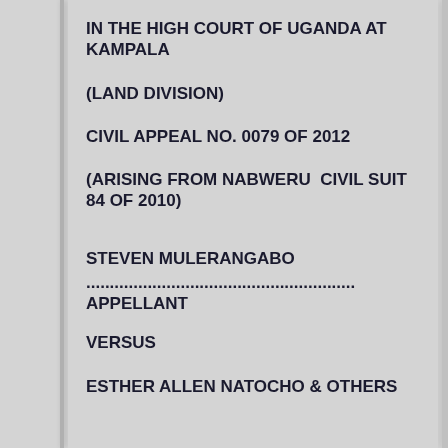IN THE HIGH COURT OF UGANDA AT KAMPALA
(LAND DIVISION)
CIVIL APPEAL NO. 0079 OF 2012
(ARISING FROM NABWERU  CIVIL SUIT 84 OF 2010)
STEVEN MULERANGABO
....................................................... APPELLANT
VERSUS
ESTHER ALLEN NATOCHO & OTHERS